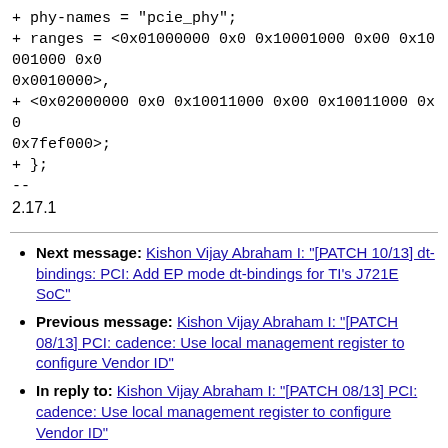+ phy-names = 'pcie_phy';
+ ranges = <0x01000000 0x0 0x10001000 0x00 0x10001000 0x0 0x0010000>,
+ <0x02000000 0x0 0x10011000 0x00 0x10011000 0x0 0x7fef000>;
+ };
--
2.17.1
Next message: Kishon Vijay Abraham I: "[PATCH 10/13] dt-bindings: PCI: Add EP mode dt-bindings for TI's J721E SoC"
Previous message: Kishon Vijay Abraham I: "[PATCH 08/13] PCI: cadence: Use local management register to configure Vendor ID"
In reply to: Kishon Vijay Abraham I: "[PATCH 08/13] PCI: cadence: Use local management register to configure Vendor ID"
Next in thread: Kishon Vijay Abraham I: "[PATCH 10/13] dt-bindings: PCI: Add EP mode dt-bindings for TI's J721E SoC"
Messages sorted by: [ date ] [ thread ] [ subject ] [ author ]